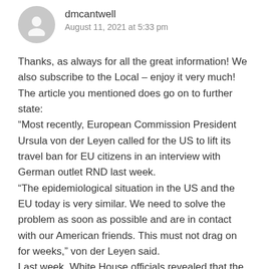dmcantwell
August 11, 2021 at 5:33 pm
Thanks, as always for all the great information! We also subscribe to the Local – enjoy it very much! The article you mentioned does go on to further state:
“Most recently, European Commission President Ursula von der Leyen called for the US to lift its travel ban for EU citizens in an interview with German outlet RND last week.
“The epidemiological situation in the US and the EU today is very similar. We need to solve the problem as soon as possible and are in contact with our American friends. This must not drag on for weeks,” von der Leyen said.
Last week, White House officials revealed that the government is working on a plan to require all international